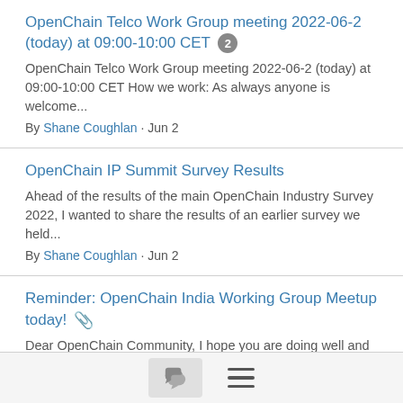OpenChain Telco Work Group meeting 2022-06-2 (today) at 09:00-10:00 CET [2]
OpenChain Telco Work Group meeting 2022-06-2 (today) at 09:00-10:00 CET How we work: As always anyone is welcome...
By Shane Coughlan · Jun 2
OpenChain IP Summit Survey Results
Ahead of the results of the main OpenChain Industry Survey 2022, I wanted to share the results of an earlier survey we held...
By Shane Coughlan · Jun 2
Reminder: OpenChain India Working Group Meetup today! [paperclip]
Dear OpenChain Community, I hope you are doing well and have received our invite for the Open Chain India Working group...
By Sreshta Ladegaam · May 31
[Figure (screenshot): Footer navigation bar with a chat/message icon button and a hamburger menu icon]